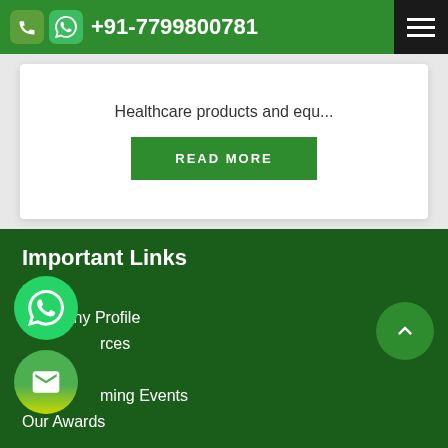+91-7799800781
Healthcare products and equ...
READ MORE
Important Links
Home
Company Profile
Resources
Blog
Upcoming Events
Our Awards
Certifications